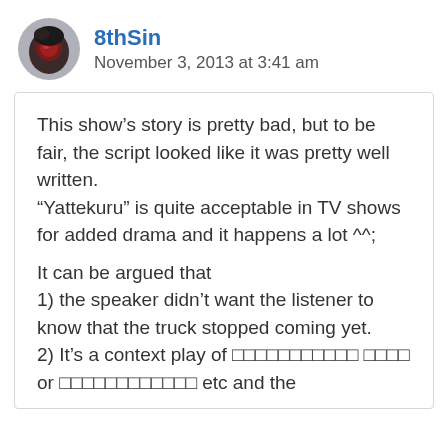[Figure (photo): Circular avatar image of user 8thSin showing an anime-style character with red/dark tones]
8thSin
November 3, 2013 at 3:41 am
This show’s story is pretty bad, but to be fair, the script looked like it was pretty well written.
“Yattekuru” is quite acceptable in TV shows for added drama and it happens a lot ^^;

It can be argued that
1) the speaker didn’t want the listener to know that the truck stopped coming yet.
2) It’s a context play of □□□□□□□□□□□ □□□□ or □□□□□□□□□□□□ etc and the